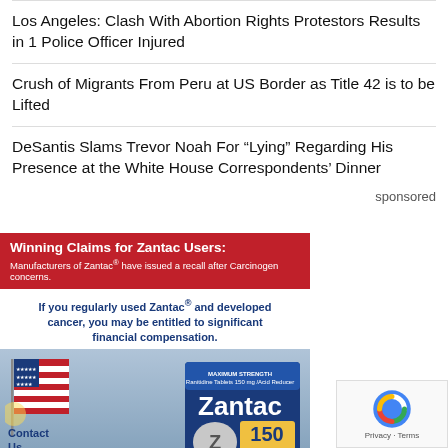Los Angeles: Clash With Abortion Rights Protestors Results in 1 Police Officer Injured
Crush of Migrants From Peru at US Border as Title 42 is to be Lifted
DeSantis Slams Trevor Noah For “Lying” Regarding His Presence at the White House Correspondents’ Dinner
sponsored
[Figure (photo): Advertisement for Zantac legal claims. Red banner reads 'Winning Claims for Zantac Users: Manufacturers of Zantac have issued a recall after Carcinogen concerns.' Below: 'If you regularly used Zantac and developed cancer, you may be entitled to significant financial compensation.' Shows American flag, Maximum Strength Zantac 150 box, and 'Contact Us Now!' text.]